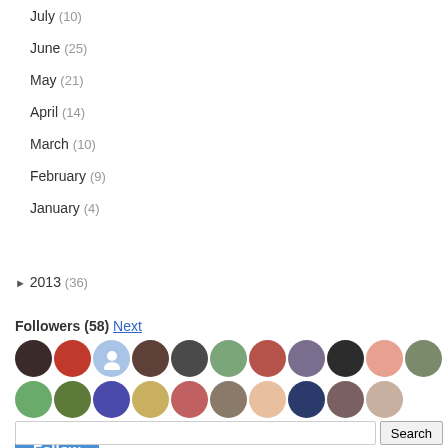July (10)
June (25)
May (21)
April (14)
March (10)
February (9)
January (4)
► 2013 (36)
Followers (58) Next
[Figure (photo): Grid of follower profile avatars, two rows of small circular photos]
Follow